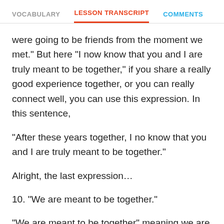VOCABULARY   LESSON TRANSCRIPT   COMMENTS
were going to be friends from the moment we met." But here "I now know that you and I are truly meant to be together," if you share a really good experience together, or you can really connect well, you can use this expression. In this sentence,
"After these years together, I no know that you and I are truly meant to be together."
Alright, the last expression…
10. "We are meant to be together."
"We are meant to be together" meaning we are supposed to be together, we should be together. It's a nice expression, you can use this with your friends, too,